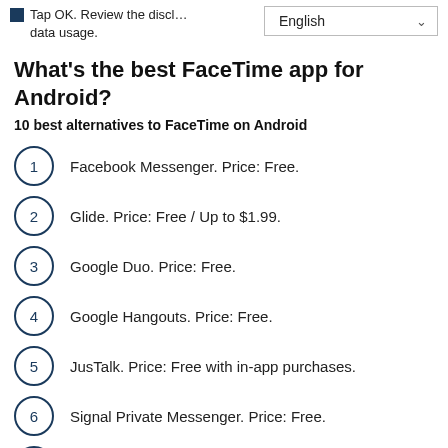Tap OK. Review the discl… data usage.
What's the best FaceTime app for Android?
10 best alternatives to FaceTime on Android
1. Facebook Messenger. Price: Free.
2. Glide. Price: Free / Up to $1.99.
3. Google Duo. Price: Free.
4. Google Hangouts. Price: Free.
5. JusTalk. Price: Free with in-app purchases.
6. Signal Private Messenger. Price: Free.
7. Skype. Price: Free / Varies.
8. Tango. Price: Free / Varies.